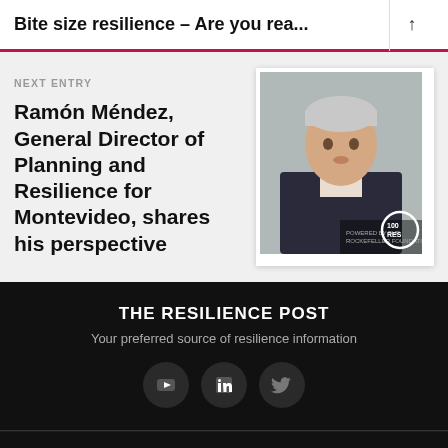Bite size resilience – Are you rea...
NEXT ENTRY
Ramón Méndez, General Director of Planning and Resilience for Montevideo, shares his perspective
[Figure (photo): Photo of Ramón Méndez, a middle-aged man with grey hair wearing a dark suit jacket, with overlay text '100 RES' and 'Powered by the Rockefeller Foundation']
THE RESILIENCE POST
Your preferred source of resilience information
[Figure (other): Social media icons: YouTube, LinkedIn, Twitter in dark circular buttons]